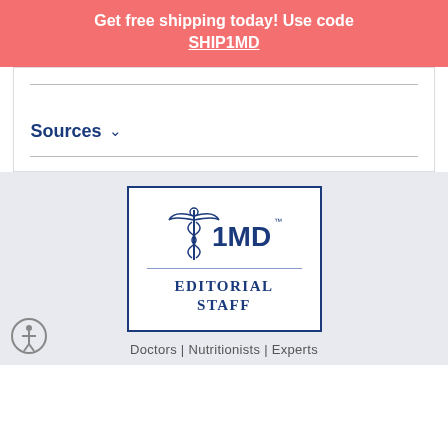Get free shipping today! Use code SHIP1MD
Sources ∨
[Figure (logo): 1MD Editorial Staff logo — caduceus symbol above '1MD' text, with 'EDITORIAL STAFF' below a horizontal divider, all inside a blue-bordered rectangle]
Doctors | Nutritionists | Experts